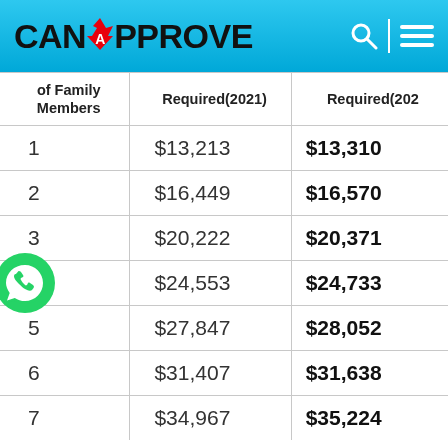CanApprove
| of Family Members | Required(2021) | Required(202… |
| --- | --- | --- |
| 1 | $13,213 | $13,310 |
| 2 | $16,449 | $16,570 |
| 3 | $20,222 | $20,371 |
| 4 | $24,553 | $24,733 |
| 5 | $27,847 | $28,052 |
| 6 | $31,407 | $31,638 |
| 7 | $34,967 | $35,224 |